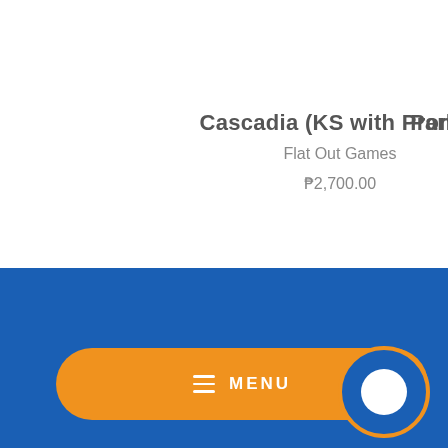Cascadia (KS with Promo)
Flat Out Games
₱2,700.00
Park
MENU